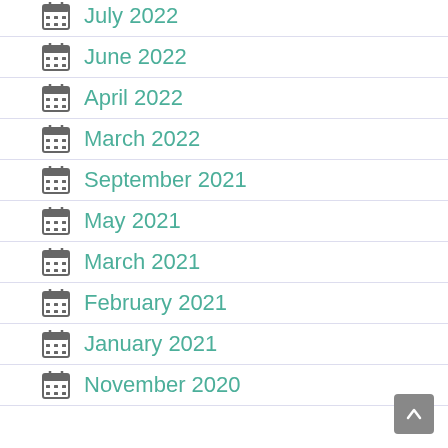July 2022
June 2022
April 2022
March 2022
September 2021
May 2021
March 2021
February 2021
January 2021
November 2020